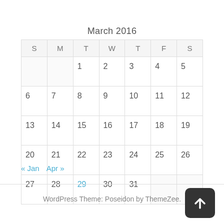| S | M | T | W | T | F | S |
| --- | --- | --- | --- | --- | --- | --- |
|  |  | 1 | 2 | 3 | 4 | 5 |
| 6 | 7 | 8 | 9 | 10 | 11 | 12 |
| 13 | 14 | 15 | 16 | 17 | 18 | 19 |
| 20 | 21 | 22 | 23 | 24 | 25 | 26 |
| 27 | 28 | 29 | 30 | 31 |  |  |
« Jan   Apr »
WordPress Theme: Poseidon by ThemeZee.